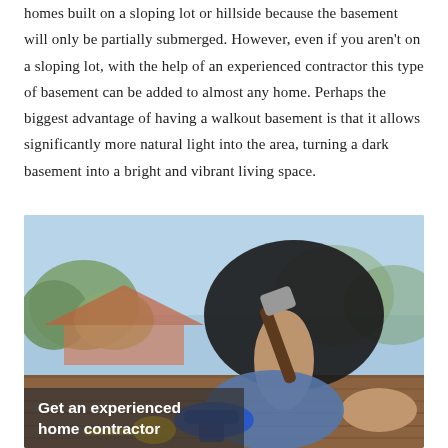homes built on a sloping lot or hillside because the basement will only be partially submerged. However, even if you aren't on a sloping lot, with the help of an experienced contractor this type of basement can be added to almost any home. Perhaps the biggest advantage of having a walkout basement is that it allows significantly more natural light into the area, turning a dark basement into a bright and vibrant living space.
[Figure (photo): A person kneeling on wooden decking, holding a hammer and working on construction. A blue power drill and measuring tape are visible in the foreground. Background shows blurred trees and a building.]
Get an experienced home contractor